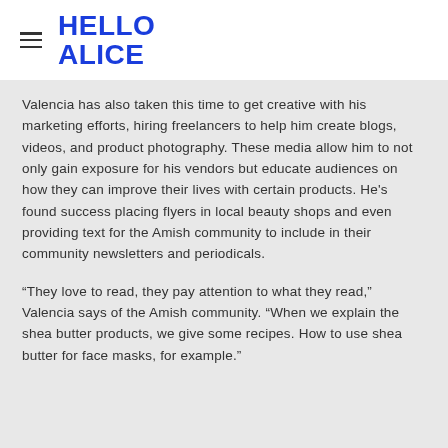HELLO ALICE
Valencia has also taken this time to get creative with his marketing efforts, hiring freelancers to help him create blogs, videos, and product photography. These media allow him to not only gain exposure for his vendors but educate audiences on how they can improve their lives with certain products. He's found success placing flyers in local beauty shops and even providing text for the Amish community to include in their community newsletters and periodicals.
“They love to read, they pay attention to what they read,” Valencia says of the Amish community. “When we explain the shea butter products, we give some recipes. How to use shea butter for face masks, for example.”